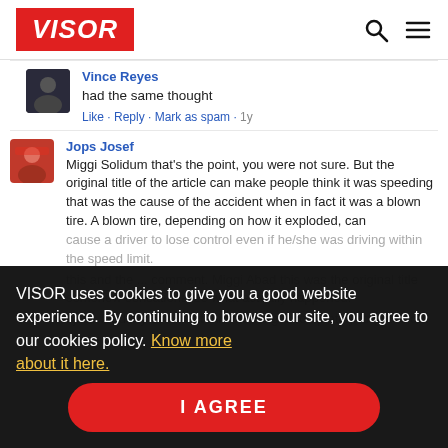VISOR
Vince Reyes
had the same thought
Like · Reply · Mark as spam · 1y
Jops Josef
Miggi Solidum that's the point, you were not sure. But the original title of the article can make people think it was speeding that was the cause of the accident when in fact it was a blown tire. A blown tire, depending on how it exploded, can cause a driver to lose control even if he/she was driving within the speed limit.
VISOR uses cookies to give you a good website experience. By continuing to browse our site, you agree to our cookies policy. Know more about it here.
I AGREE